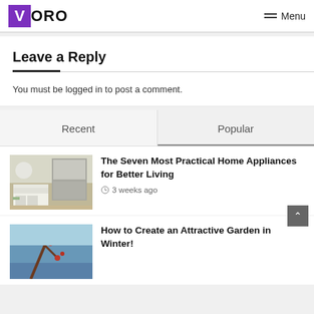VORO  Menu
Leave a Reply
You must be logged in to post a comment.
Recent	Popular
The Seven Most Practical Home Appliances for Better Living
3 weeks ago
How to Create an Attractive Garden in Winter!